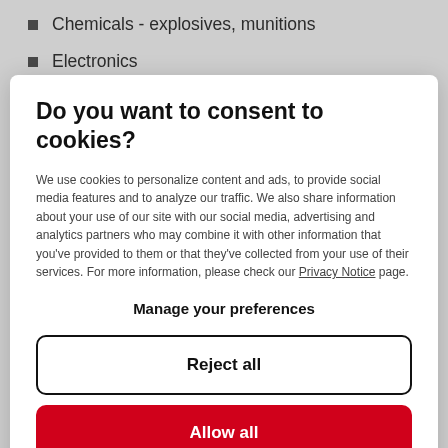Chemicals - explosives, munitions
Electronics
Grain Handling
Do you want to consent to cookies?
We use cookies to personalize content and ads, to provide social media features and to analyze our traffic. We also share information about your use of our site with our social media, advertising and analytics partners who may combine it with other information that you've provided to them or that they've collected from your use of their services. For more information, please check our Privacy Notice page.
Manage your preferences
Reject all
Allow all
Robotics parts
Slide liners
Table surfaces
Transfer plates